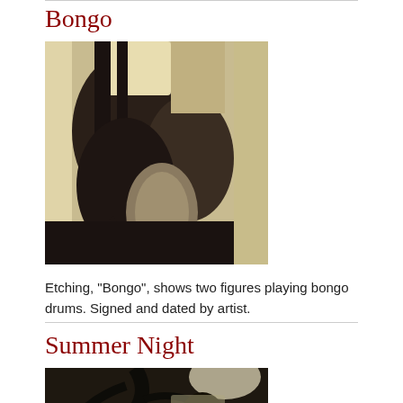Bongo
[Figure (illustration): Etching showing two figures playing bongo drums, rendered in dark tones with cream/sepia background.]
Etching, "Bongo", shows two figures playing bongo drums. Signed and dated by artist.
Summer Night
[Figure (illustration): Etching or photograph showing a night scene with dark tree branches and figures, partially visible at bottom of page.]